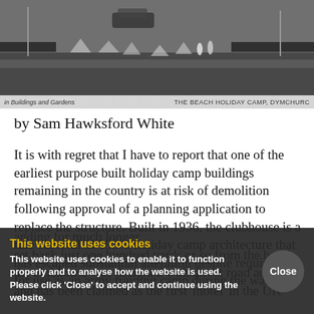[Figure (photo): Black and white historical photograph of The Beach Holiday Camp, Dymchurch, showing buildings, gardens, tents and people in an outdoor setting]
in Buildings and Gardens    THE BEACH HOLIDAY CAMP, DYMCHURC
by Sam Hawksford White
It is with regret that I have to report that one of the earliest purpose built holiday camp buildings remaining in the country is at risk of demolition following approval of a planning application to replace the structure. Built in 1936, the clubhouse is a rare survival of 1930s holiday camp architecture that has escaped substantial alteration despite requisition for use as an army training camp during the war, but
anding for much longer.
set back just one hundred yards or so from the beach, the clubhouse was designed with direct road access, and has been claimed as the first 'motel' in the UK
This website uses cookies
This website uses cookies to enable it to function properly and to analyse how the website is used.
Please click 'Close' to accept and continue using the website.